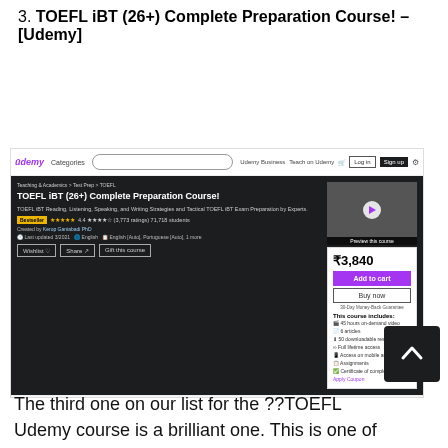3. TOEFL iBT (26+) Complete Preparation Course! – [Udemy]
[Figure (screenshot): Screenshot of Udemy course page for TOEFL iBT (26+) Complete Preparation Course showing course title, rating, price of ₹3,840, Add to cart and Buy now buttons, What you'll learn section, and course includes sidebar.]
The third one on our list for the ??TOEFL